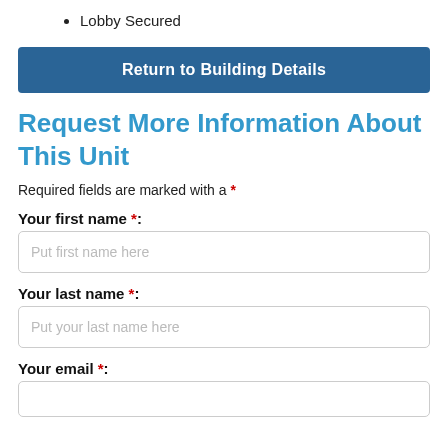Lobby Secured
Return to Building Details
Request More Information About This Unit
Required fields are marked with a *
Your first name *:
Put first name here
Your last name *:
Put your last name here
Your email *: